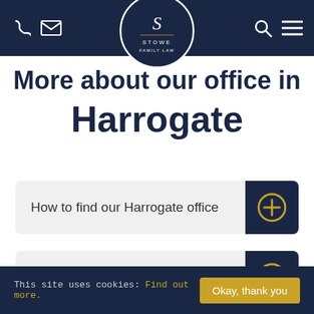[Figure (logo): Stowe Family Law circular logo with 'S' monogram and text 'STOWE FAMILY LAW' on dark navy background]
More about our office in Harrogate
How to find our Harrogate office
Achieving the best outcome for you
This site uses cookies: Find out more. Okay, thank you